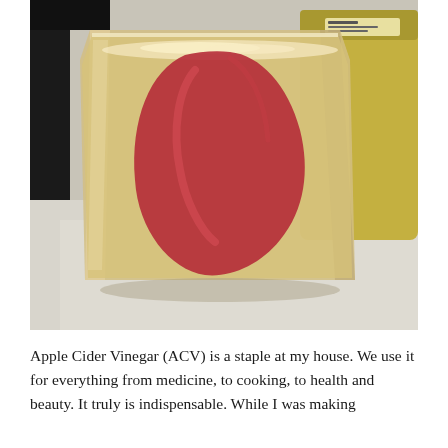[Figure (photo): A glass jar filled with a pale golden liquid and a large red piece of apple cider vinegar mother (a gelatinous reddish-pink mass). In the background is another jar with a yellowish-green liquid and a label visible. The jars sit on a white surface.]
Apple Cider Vinegar (ACV) is a staple at my house. We use it for everything from medicine, to cooking, to health and beauty. It truly is indispensable. While I was making...